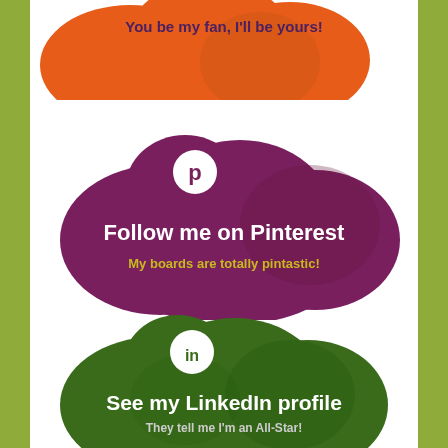[Figure (infographic): Orange cloud shape with text 'You be my fan, I'll be yours!' partially visible at top]
[Figure (infographic): Purple/maroon cloud shape with Pinterest logo, text 'Follow me on Pinterest' in white and 'My boards are totally pintastic!' in olive/yellow-green]
[Figure (infographic): Dark green cloud shape with LinkedIn logo, text 'See my LinkedIn profile' in white and 'They tell me I'm an All-Star!' in gray]